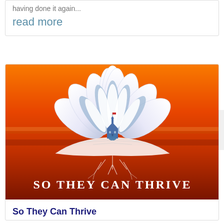having done it again...
read more
[Figure (illustration): Promotional image for 'So They Can Thrive' featuring a white lotus flower with a small church building in the center, set against a vibrant orange and red sunset background. Below the lotus is an open book with roots. Text at bottom reads 'So They Can Thrive' in white serif small-caps lettering.]
So They Can Thrive